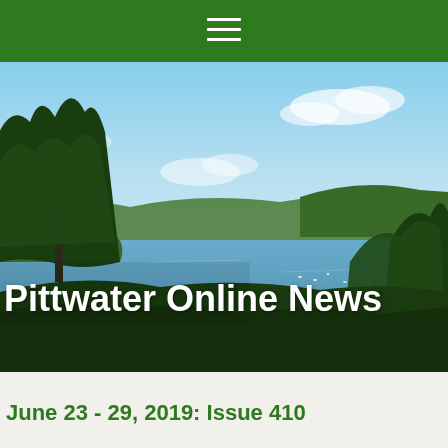[Figure (photo): Aerial/elevated view of Pittwater estuary with sailboats on blue water, surrounded by forested hills and trees in the foreground. Clear blue sky with some clouds. Site title 'Pittwater Online News' overlaid in white text.]
Pittwater Online News
June 23 - 29, 2019: Issue 410